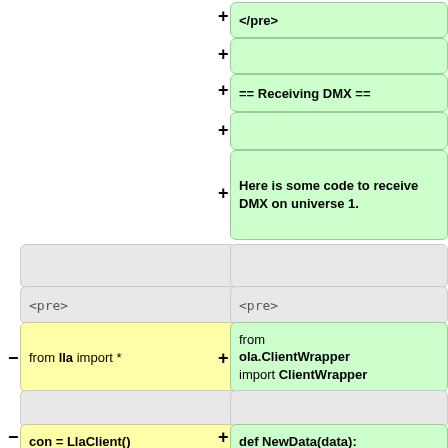[Figure (other): Diff view showing code changes. Right column (green, additions): </pre>, empty line, == Receiving DMX ==, empty line, 'Here is some code to receive DMX on universe 1.', <pre>, 'from ola.ClientWrapper import ClientWrapper', empty, 'def NewData(data):', 'print data'. Left column (yellow/grey, removals): empty grey blocks, <pre>, 'from lla import *', empty grey block, 'con = LlaClient()', 'con.start()', 'universe = 0']